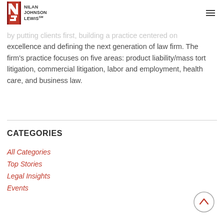[Figure (logo): Nilan Johnson Lewis law firm logo with NJ bracket icon and firm name text]
by putting clients first, building a practice centered on excellence and defining the next generation of law firm. The firm's practice focuses on five areas: product liability/mass tort litigation, commercial litigation, labor and employment, health care, and business law.
CATEGORIES
All Categories
Top Stories
Legal Insights
Events